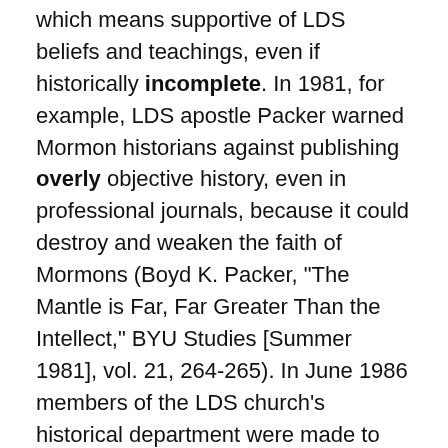which means supportive of LDS beliefs and teachings, even if historically incomplete. In 1981, for example, LDS apostle Packer warned Mormon historians against publishing overly objective history, even in professional journals, because it could destroy and weaken the faith of Mormons (Boyd K. Packer, "The Mantle is Far, Far Greater Than the Intellect," BYU Studies [Summer 1981], vol. 21, 264-265). In June 1986 members of the LDS church's historical department were made to "sign a form which Elder Packer declared gave the right of pre-publication censorship for any archival research completed before signing the form" (Smith, 109, footnote #52; quoted in Tanner and Tanner, 3,